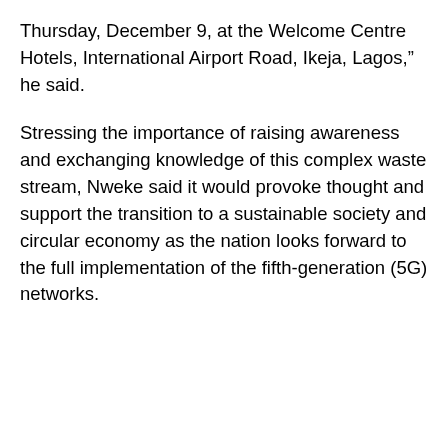Thursday, December 9, at the Welcome Centre Hotels, International Airport Road, Ikeja, Lagos," he said.
Stressing the importance of raising awareness and exchanging knowledge of this complex waste stream, Nweke said it would provoke thought and support the transition to a sustainable society and circular economy as the nation looks forward to the full implementation of the fifth-generation (5G) networks.